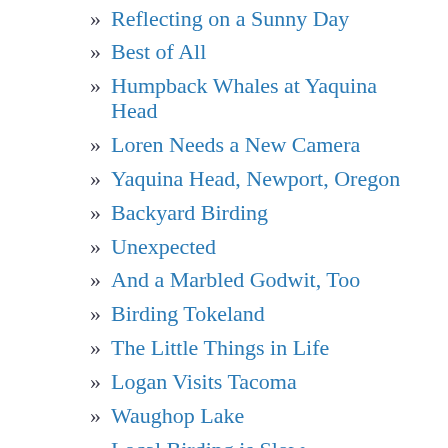» Reflecting on a Sunny Day
» Best of All
» Humpback Whales at Yaquina Head
» Loren Needs a New Camera
» Yaquina Head, Newport, Oregon
» Backyard Birding
» Unexpected
» And a Marbled Godwit, Too
» Birding Tokeland
» The Little Things in Life
» Logan Visits Tacoma
» Waughop Lake
» Local Birding is Slow
» Great Blue Herons
» Loren's Good to Go
» Catch!!